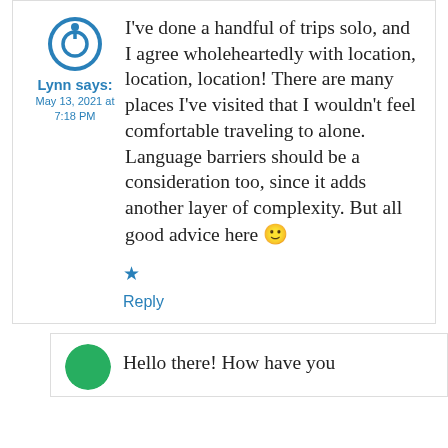Lynn says: May 13, 2021 at 7:18 PM
I've done a handful of trips solo, and I agree wholeheartedly with location, location, location! There are many places I've visited that I wouldn't feel comfortable traveling to alone. Language barriers should be a consideration too, since it adds another layer of complexity. But all good advice here 🙂
★
Reply
Hello there! How have you